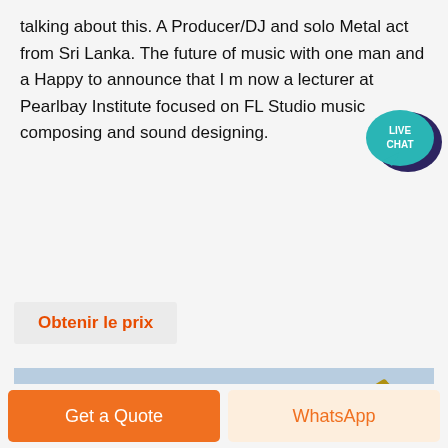talking about this. A Producer/DJ and solo Metal act from Sri Lanka. The future of music with one man and a Happy to announce that I m now a lecturer at Pearlbay Institute focused on FL Studio music composing and sound designing.
[Figure (logo): Live Chat speech bubble icon in teal/dark blue with text LIVE CHAT]
Obtenir le prix
[Figure (photo): Outdoor quarry scene with heavy machinery including a yellow CAT excavator and a large industrial screening/crushing machine on a pile of gravel and rock, with trees and hillside in background.]
Get a Quote
WhatsApp